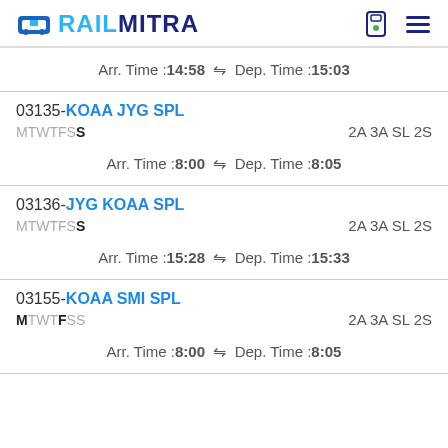RAILMITRA
Arr. Time :14:58  Dep. Time :15:03
03135-KOAA JYG SPL MTWTFSS 2A 3A SL 2S
Arr. Time :8:00  Dep. Time :8:05
03136-JYG KOAA SPL MTWTFSS 2A 3A SL 2S
Arr. Time :15:28  Dep. Time :15:33
03155-KOAA SMI SPL MTWTFSS 2A 3A SL 2S
Arr. Time :8:00  Dep. Time :8:05